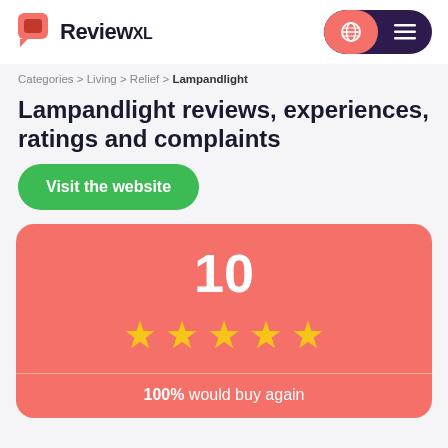ReviewXL
Categories > Living > Relief > Lampandlight
Lampandlight reviews, experiences, ratings and complaints
Visit the website
[Figure (infographic): Rating card showing score of 10, five gold stars, and '100% would buy again']